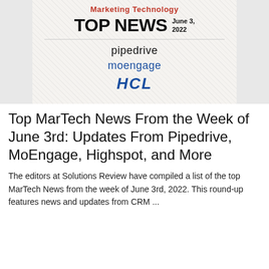[Figure (other): Marketing Technology Top News banner dated June 3, 2022, featuring logos of Pipedrive, MoEngage, and HCL on a textured background]
Top MarTech News From the Week of June 3rd: Updates From Pipedrive, MoEngage, Highspot, and More
The editors at Solutions Review have compiled a list of the top MarTech News from the week of June 3rd, 2022. This round-up features news and updates from CRM ...